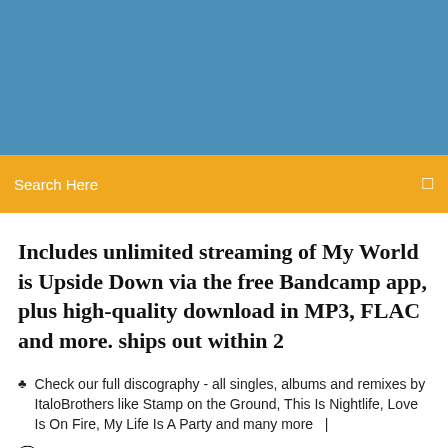[Figure (other): Blue banner header area at the top of the page]
Search Here
Includes unlimited streaming of My World is Upside Down via the free Bandcamp app, plus high-quality download in MP3, FLAC and more. ships out within 2
Check our full discography - all singles, albums and remixes by ItaloBrothers like Stamp on the Ground, This Is Nightlife, Love Is On Fire, My Life Is A Party and many more  |
4 Comments